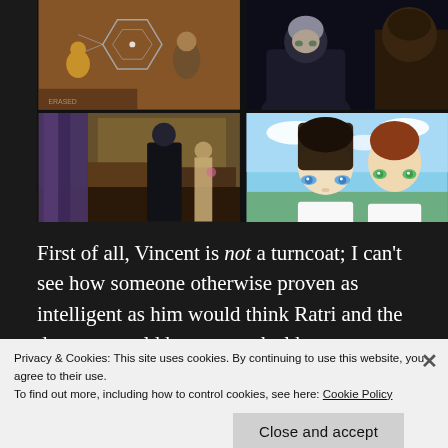[Figure (screenshot): Four anime screenshots arranged in a 2x2 grid. Top-left: two anime characters with a holographic hexagonal display. Top-right: a grey-haired anime character in dark setting with another character. Bottom-left: a dark scene showing a figure in black coat in a Victorian-style interior. Bottom-right: two young anime children with blue and green eyes against a bright sky background.]
First of all, Vincent is not a turncoat; I can't see how someone otherwise proven as intelligent as him would think Ratri and the demons would honor any deal he
Privacy & Cookies: This site uses cookies. By continuing to use this website, you agree to their use.
To find out more, including how to control cookies, see here: Cookie Policy
Close and accept